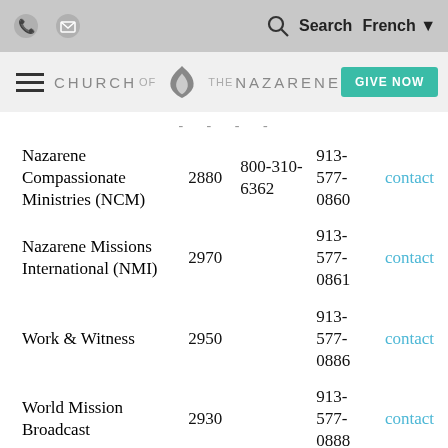Church of the Nazarene website header with navigation icons, search, French language option, hamburger menu, logo, and GIVE NOW button
| Name | Ext | Toll-Free | Phone |  |
| --- | --- | --- | --- | --- |
| Nazarene Compassionate Ministries (NCM) | 2880 | 800-310-6362 | 913-577-0860 | contact |
| Nazarene Missions International (NMI) | 2970 |  | 913-577-0861 | contact |
| Work & Witness | 2950 |  | 913-577-0886 | contact |
| World Mission Broadcast | 2930 |  | 913-577-0888 | contact |
|  |  | (915)562-6300 | 913- |  |